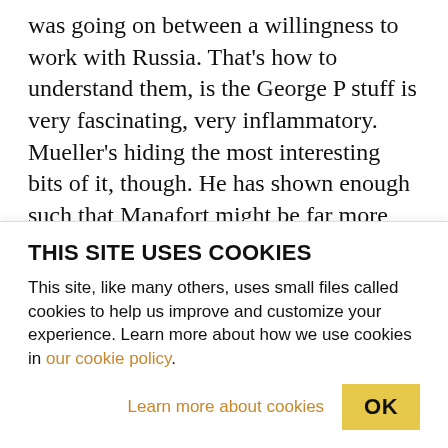was going on between a willingness to work with Russia. That's how to understand them, is the George P stuff is very fascinating, very inflammatory. Mueller's hiding the most interesting bits of it, though. He has shown enough such that Manafort might be far more interesting in reading it but there are bits in there that he just nods to, which are going to be really interesting when we see it at some..]. AARON MATÉ: Well how do you know he's hiding the interesting bits? Because he does say that George P says that an unnamed professor who the
THIS SITE USES COOKIES
This site, like many others, uses small files called cookies to help us improve and customize your experience. Learn more about how we use cookies in our cookie policy.
Learn more about cookies   OK